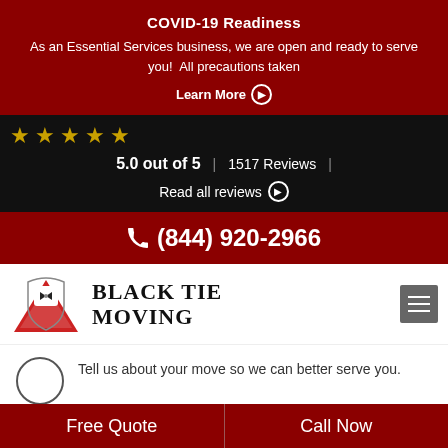COVID-19 Readiness
As an Essential Services business, we are open and ready to serve you! All precautions taken
Learn More ▶
[Figure (other): Five gold star rating icons on black background]
5.0 out of 5  |  1517 Reviews  |
Read all reviews ▶
(844) 920-2966
[Figure (logo): Black Tie Moving logo - red triangle with tuxedo figure]
Black Tie Moving
Tell us about your move so we can better serve you.
2  And a few details
Tell us about yourself so we can contact you.
Free Quote
Call Now